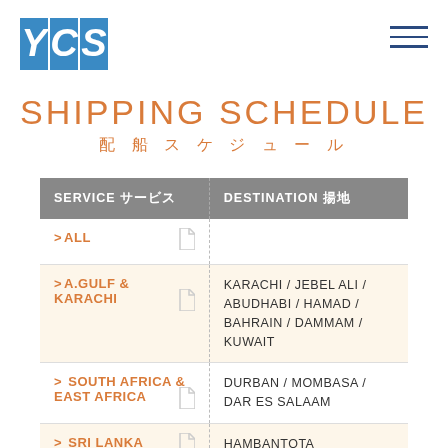YCS logo and navigation
SHIPPING SCHEDULE 配船スケジュール
| SERVICE サービス | DESTINATION 揚地 |
| --- | --- |
| >ALL |  |
| >A.GULF & KARACHI | KARACHI / JEBEL ALI / ABUDHABI / HAMAD / BAHRAIN / DAMMAM / KUWAIT |
| > SOUTH AFRICA & EAST AFRICA | DURBAN / MOMBASA / DAR ES SALAAM |
| > SRI LANKA | HAMBANTOTA |